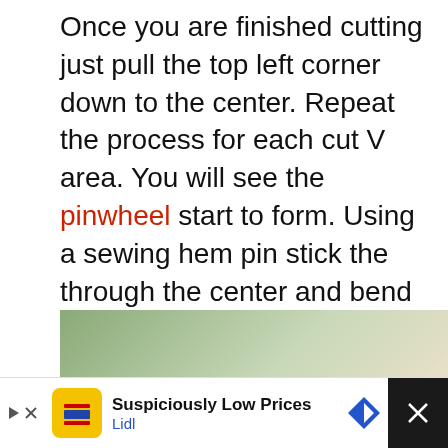Once you are finished cutting just pull the top left corner down to the center. Repeat the process for each cut V area. You will see the pinwheel start to form. Using a sewing hem pin stick the through the center and bend the pin. You can now stick the pen into a lollipop stick for easy placing on the tree.
[Figure (photo): Partial view of a Christmas tree with pinwheel decorations, partially cropped at bottom of page]
Suspiciously Low Prices Lidl